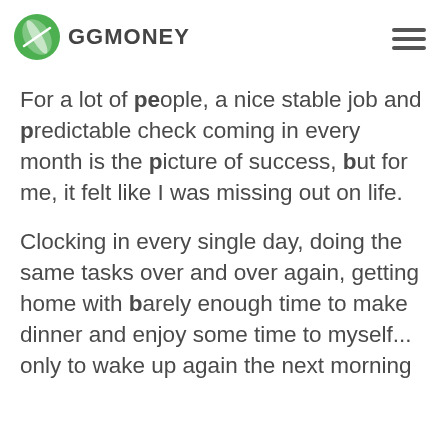GGMONEY
For a lot of people, a nice stable job and predictable check coming in every month is the picture of success, but for me, it felt like I was missing out on life.
Clocking in every single day, doing the same tasks over and over again, getting home with barely enough time to make dinner and enjoy some time to myself... only to wake up again the next morning